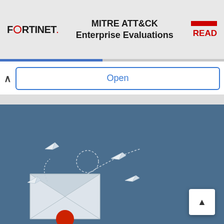[Figure (screenshot): Fortinet logo with stylized O characters in red]
MITRE ATT&CK Enterprise Evaluations
READ
Open
[Figure (illustration): Email security illustration with paper airplanes flying around an envelope on a blue background]